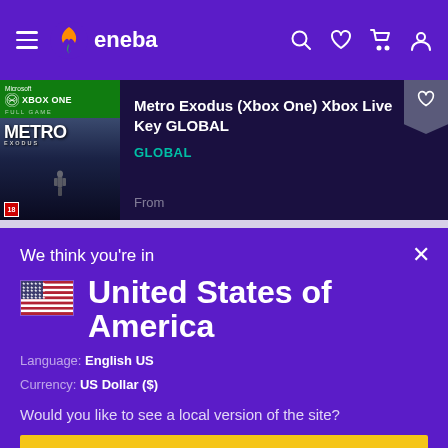eneba (navigation header with hamburger menu, logo, search, wishlist, cart, account icons)
[Figure (screenshot): Metro Exodus (Xbox One) Xbox Live Key GLOBAL product card with game cover image]
Metro Exodus (Xbox One) Xbox Live Key GLOBAL
GLOBAL
From
We think you're in
United States of America
Language: English US
Currency: US Dollar ($)
Would you like to see a local version of the site?
Yes